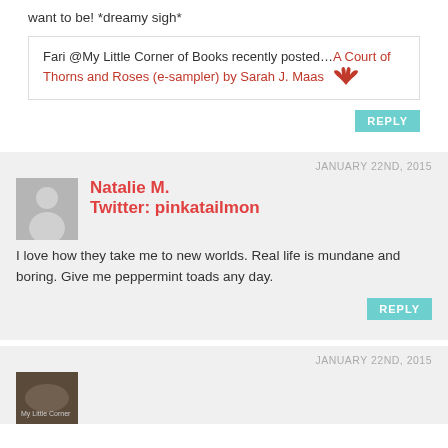want to be! *dreamy sigh*
Fari @My Little Corner of Books recently posted…A Court of Thorns and Roses (e-sampler) by Sarah J. Maas
REPLY
JANUARY 22ND, 2015
[Figure (illustration): Generic grey avatar silhouette placeholder image]
Natalie M.
Twitter: pinkatailmon
I love how they take me to new worlds. Real life is mundane and boring. Give me peppermint toads any day.
REPLY
JANUARY 22ND, 2015
[Figure (photo): Small profile photo of a commenter, partially visible at bottom of page]